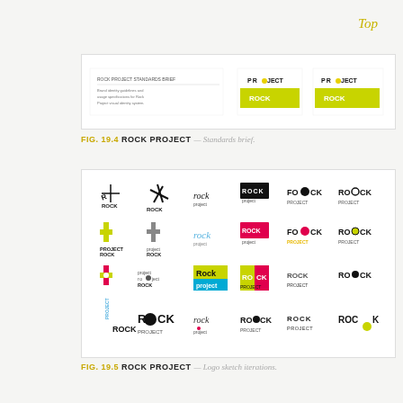Top
[Figure (illustration): Rock Project standards brief showing two logo versions with yellow-green color bars]
FIG. 19.4 ROCK PROJECT — Standards brief.
[Figure (illustration): Rock Project logo sketch iterations — grid of 24 logo concepts in various styles, colors, and typographic treatments]
FIG. 19.5 ROCK PROJECT — Logo sketch iterations.